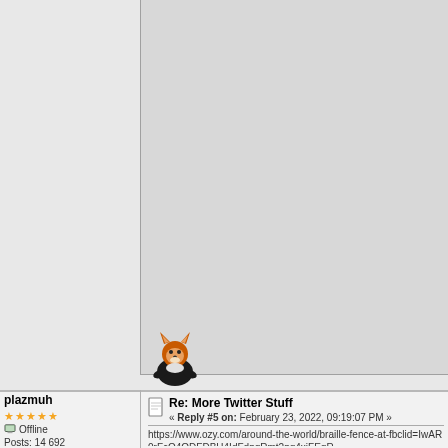[Figure (other): Top section with empty gray areas, separated by a vertical border. A small cartoon fox avatar appears in the lower-left of the right area boundary.]
plazmuh
★★★★★
Offline
Posts: 14 692
Re: More Twitter Stuff
« Reply #5 on: February 23, 2022, 09:19:07 PM »
https://www.ozy.com/around-the-world/braille-fence-at-fbclid=IwAR0rFcQ4QDFDBH4IdFdpqRmt2pg4xiFEqR